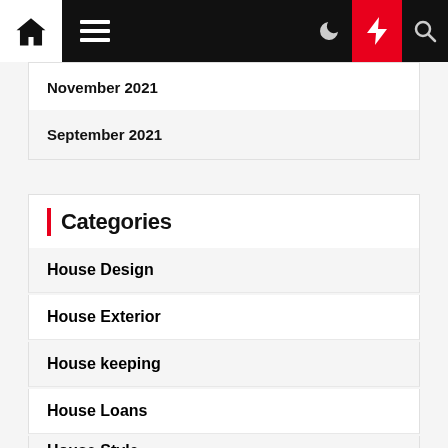Navigation bar with home, menu, moon, lightning, and search icons
November 2021
September 2021
Categories
House Design
House Exterior
House keeping
House Loans
House Style
Houses Sale